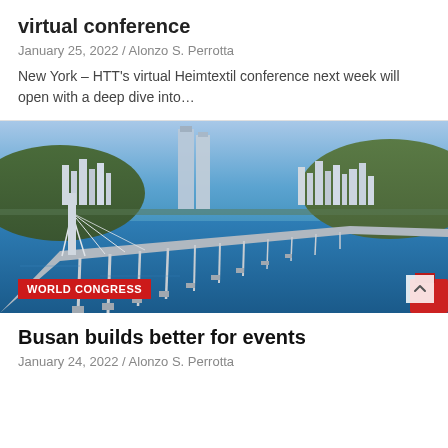virtual conference
January 25, 2022 / Alonzo S. Perrotta
New York – HTT's virtual Heimtextil conference next week will open with a deep dive into…
[Figure (photo): Aerial view of a long cable-stayed bridge over blue water with a modern city skyline in the background, mountains visible, red cargo ship in lower right corner. Badge reads WORLD CONGRESS.]
Busan builds better for events
January 24, 2022 / Alonzo S. Perrotta